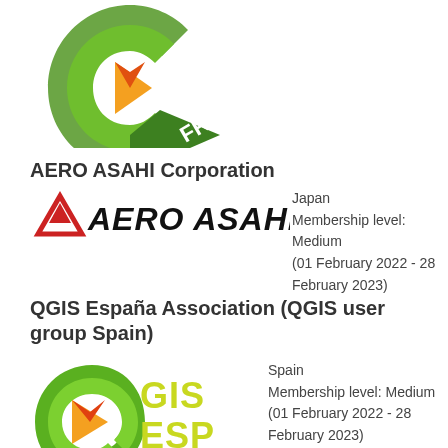[Figure (logo): QGIS France logo - partial green Q with orange/yellow arrow inside and 'FR' text on green chevron banner, cropped at top]
AERO ASAHI Corporation
[Figure (logo): Aero Asahi logo - red triangle/mountain symbol with italic bold AERO ASAHI text]
Japan
Membership level: Medium
(01 February 2022 - 28 February 2023)
QGIS España Association (QGIS user group Spain)
[Figure (logo): QGIS España logo - green Q with orange/yellow arrow inside, text 'GIS' and 'ESP' in yellow-green, partial/cropped at bottom]
Spain
Membership level: Medium
(01 February 2022 - 28 February 2023)